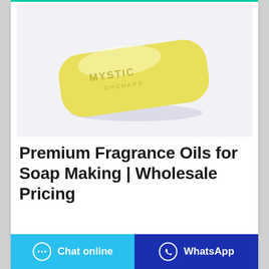[Figure (photo): A yellow bar of soap labeled 'Mystic Orchard' on a light lavender/grey background]
Premium Fragrance Oils for Soap Making | Wholesale Pricing
Chat online
WhatsApp